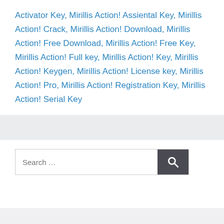Activator Key, Mirillis Action! Assiental Key, Mirillis Action! Crack, Mirillis Action! Download, Mirillis Action! Free Download, Mirillis Action! Free Key, Mirillis Action! Full key, Mirillis Action! Key, Mirillis Action! Keygen, Mirillis Action! License key, Mirillis Action! Pro, Mirillis Action! Registration Key, Mirillis Action! Serial Key
Search …